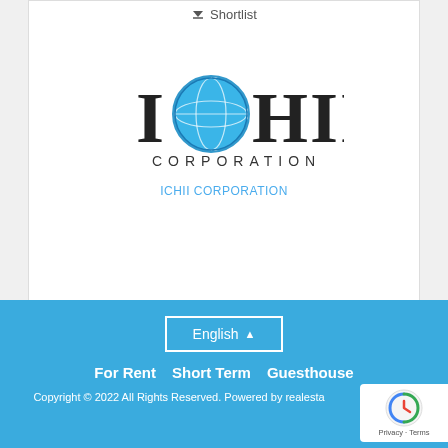↓ Shortlist
[Figure (logo): ICHII CORPORATION logo with globe icon integrated into the letter O]
ICHII CORPORATION
16 - 25 of 25
English ▲  For Rent  Short Term  Guesthouse  Copyright © 2022 All Rights Reserved. Powered by realesta